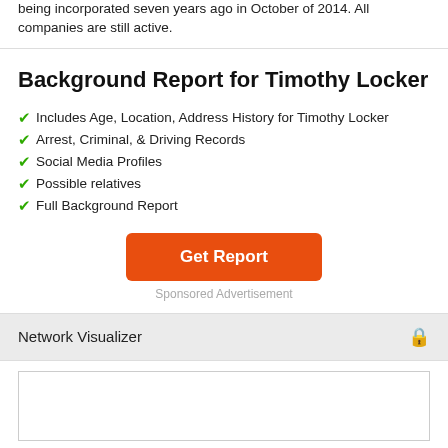being incorporated seven years ago in October of 2014. All companies are still active.
Background Report for Timothy Locker
Includes Age, Location, Address History for Timothy Locker
Arrest, Criminal, & Driving Records
Social Media Profiles
Possible relatives
Full Background Report
Get Report
Sponsored Advertisement
Network Visualizer
[Figure (other): Empty network visualizer panel with border]